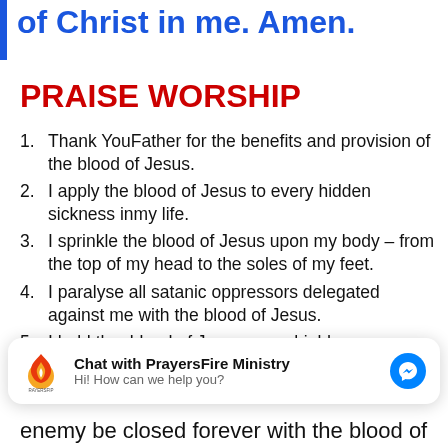of Christ in me. Amen.
PRAISE WORSHIP
Thank YouFather for the benefits and provision of the blood of Jesus.
I apply the blood of Jesus to every hidden sickness inmy life.
I sprinkle the blood of Jesus upon my body – from the top of my head to the soles of my feet.
I paralyse all satanic oppressors delegated against me with the blood of Jesus.
I hold the  blood of Jesus as a shield
[Figure (logo): PrayersFire Ministry chat widget logo - flame icon with text RAYERSFIP below]
Chat with PrayersFire Ministry
Hi! How can we help you?
enemy be closed forever with the blood of